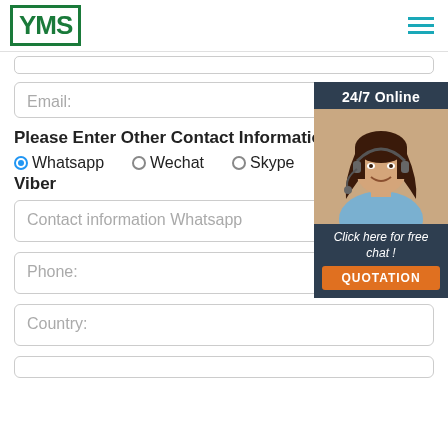[Figure (logo): YMS logo in green bordered box]
Email:
Please Enter Other Contact Information
●Whatsapp   ○Wechat   ○Skype
Viber
Contact information Whatsapp
Phone:
Country:
[Figure (infographic): 24/7 Online chat widget with woman wearing headset and 'Click here for free chat!' text and QUOTATION button]